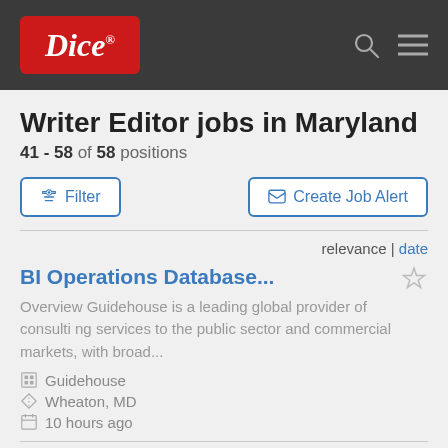Dice
Writer Editor jobs in Maryland
41 - 58 of 58 positions
Filter
Create Job Alert
relevance | date
BI Operations Database...
Overview Guidehouse is a leading global provider of consulting services to the public sector and commercial markets, with broad...
Guidehouse
Wheaton, MD
10 hours ago
Full Stack Developer, Senior...